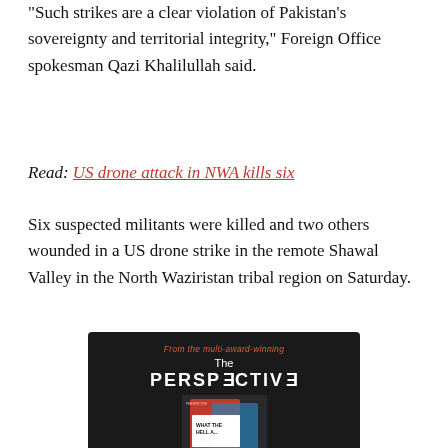"Such strikes are a clear violation of Pakistan's sovereignty and territorial integrity," Foreign Office spokesman Qazi Khalilullah said.
Read: US drone attack in NWA kills six
Six suspected militants were killed and two others wounded in a US drone strike in the remote Shawal Valley in the North Waziristan tribal region on Saturday.
[Figure (illustration): Advertisement for 'The Perspective' book showing a dark background with red and white text reading 'From the multi-award-winning', 'The PERSPECTIVE', a book cover image with 'WHAT THE HELL...' text, 'The 100 debates that govern your life.' and an 'Available on Amazon' button.]